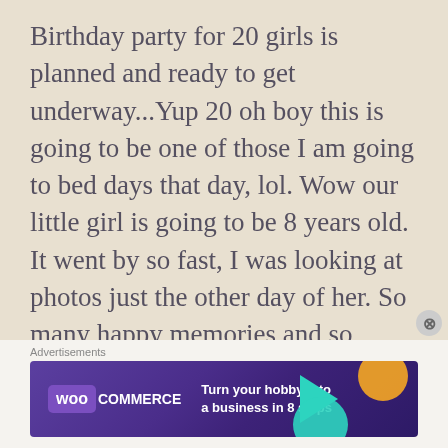Birthday party for 20 girls is planned and ready to get underway...Yup 20 oh boy this is going to be one of those I am going to bed days that day, lol. Wow our little girl is going to be 8 years old. It went by so fast, I was looking at photos just the other day of her. So many happy memories and so many to come as well.
Advertisements
[Figure (other): WooCommerce advertisement banner: dark purple background with teal arrow shape, orange blob, teal blob. WooCommerce logo on left, text 'Turn your hobby into a business in 8 steps' on right.]